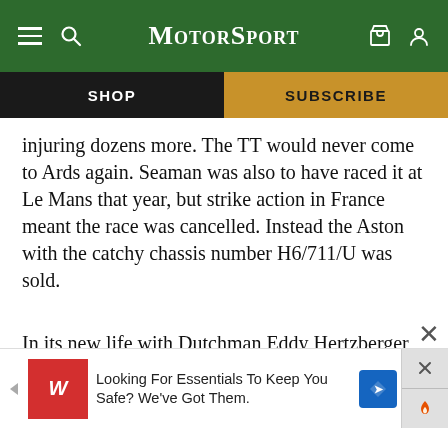MotorSport
SHOP
SUBSCRIBE
injuring dozens more. The TT would never come to Ards again. Seaman was also to have raced it at Le Mans that year, but strike action in France meant the race was cancelled. Instead the Aston with the catchy chassis number H6/711/U was sold.
In its new life with Dutchman Eddy Hertzberger, the car raced first in the 1937 Mille Miglia and finished second in its class, despite some more engine trouble. Next up came Le Ma... mo...
[Figure (other): Advertisement banner: Walgreens ad reading 'Looking For Essentials To Keep You Safe? We've Got Them.' with red Walgreens logo, blue road sign icon, close button and flame icon.]